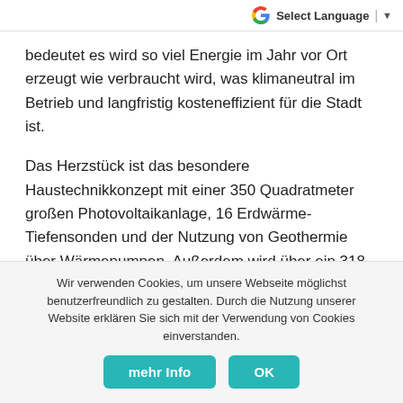G Select Language ▼
bedeutet es wird so viel Energie im Jahr vor Ort erzeugt wie verbraucht wird, was klimaneutral im Betrieb und langfristig kosteneffizient für die Stadt ist.
Das Herzstück ist das besondere Haustechnikkonzept mit einer 350 Quadratmeter großen Photovoltaikanlage, 16 Erdwärme-Tiefensonden und der Nutzung von Geothermie über Wärmepumpen. Außerdem wird über ein 318 m² Solarthermie Kollektoren überschüssige
Wir verwenden Cookies, um unsere Webseite möglichst benutzerfreundlich zu gestalten. Durch die Nutzung unserer Website erklären Sie sich mit der Verwendung von Cookies einverstanden.
mehr Info
OK